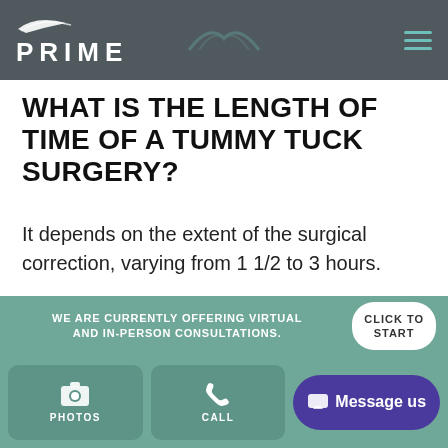PRIME
WHAT IS THE LENGTH OF TIME OF A TUMMY TUCK SURGERY?
It depends on the extent of the surgical correction, varying from 1 1/2 to 3 hours.
WHAT IF I PLAN TO HAVE ADDITIONAL
WE ARE CURRENTLY OFFERING VIRTUAL AND IN-PERSON CONSULTATIONS.
CLICK TO START
PHOTOS
CALL
Message us